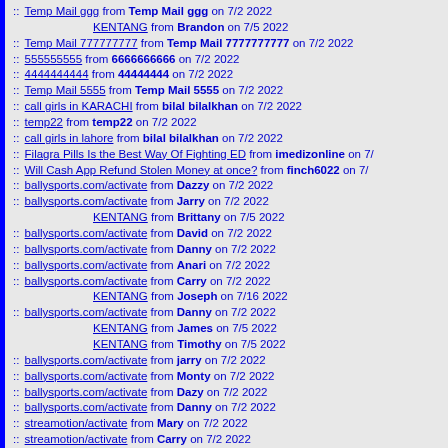:: Temp Mail ggg from Temp Mail ggg on 7/2 2022
KENTANG from Brandon on 7/5 2022
:: Temp Mail 777777777 from Temp Mail 7777777777 on 7/2 2022
:: 555555555 from 6666666666 on 7/2 2022
:: 4444444444 from 44444444 on 7/2 2022
:: Temp Mail 5555 from Temp Mail 5555 on 7/2 2022
:: call girls in KARACHI from bilal bilalkhan on 7/2 2022
:: temp22 from temp22 on 7/2 2022
:: call girls in lahore from bilal bilalkhan on 7/2 2022
:: Filagra Pills Is the Best Way Of Fighting ED from imedizonline on 7/...
:: Will Cash App Refund Stolen Money at once? from finch6022 on 7/...
:: ballysports.com/activate from Dazzy on 7/2 2022
:: ballysports.com/activate from Jarry on 7/2 2022
KENTANG from Brittany on 7/5 2022
:: ballysports.com/activate from David on 7/2 2022
:: ballysports.com/activate from Danny on 7/2 2022
:: ballysports.com/activate from Anari on 7/2 2022
:: ballysports.com/activate from Carry on 7/2 2022
KENTANG from Joseph on 7/16 2022
:: ballysports.com/activate from Danny on 7/2 2022
KENTANG from James on 7/5 2022
KENTANG from Timothy on 7/5 2022
:: ballysports.com/activate from jarry on 7/2 2022
:: ballysports.com/activate from Monty on 7/2 2022
:: ballysports.com/activate from Dazy on 7/2 2022
:: ballysports.com/activate from Danny on 7/2 2022
:: streamotion/activate from Mary on 7/2 2022
:: streamotion/activate from Carry on 7/2 2022
:: streamotion/activate from Jarry on 7/2 2022
:: streamotion/activate from David on 7/2 2022